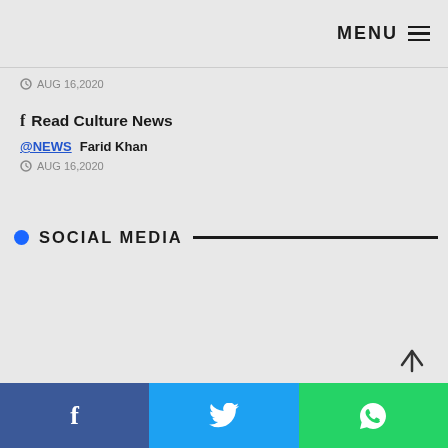MENU
AUG 16,2020
f Read Culture News
@NEWS   Farid Khan
AUG 16,2020
SOCIAL MEDIA
Facebook | Twitter | WhatsApp